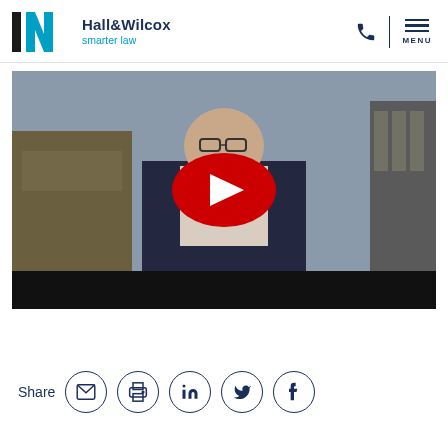[Figure (logo): Hall & Wilcox smarter law logo with stylized N graphic mark in black and cyan]
[Figure (screenshot): YouTube video thumbnail showing a man in a dark suit with glasses, with a red YouTube play button overlay in the center]
Share
[Figure (infographic): Row of five circular social share icons: email, print, LinkedIn, Twitter/X, Facebook]